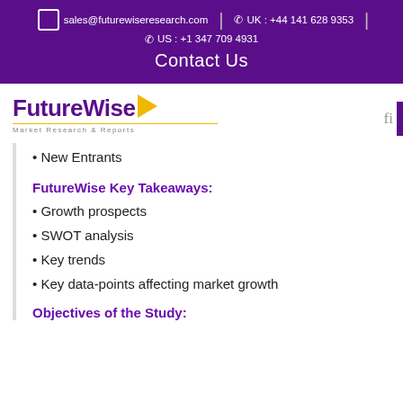sales@futurewiseresearch.com | UK : +44 141 628 9353 | US : +1 347 709 4931
Contact Us
[Figure (logo): FutureWise Market Research & Reports logo with yellow arrow icon]
New Entrants
FutureWise Key Takeaways:
Growth prospects
SWOT analysis
Key trends
Key data-points affecting market growth
Objectives of the Study: